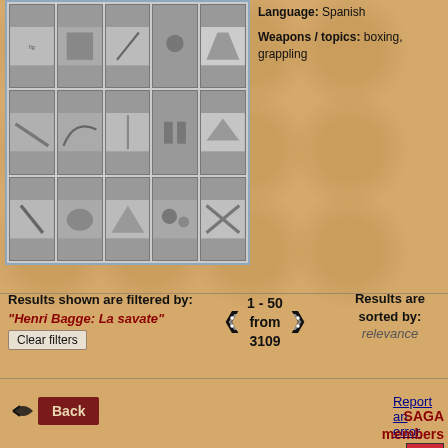[Figure (photo): Grid of martial arts / boxing photos showing fighters in various combat poses]
Language: Spanish
Weapons / topics: boxing, grappling
Results shown are filtered by: "Henri Bagge: La savate"
Clear filters
1 - 50 from 3109
Results are sorted by: relevance
Report an error
Back
SAGA members login